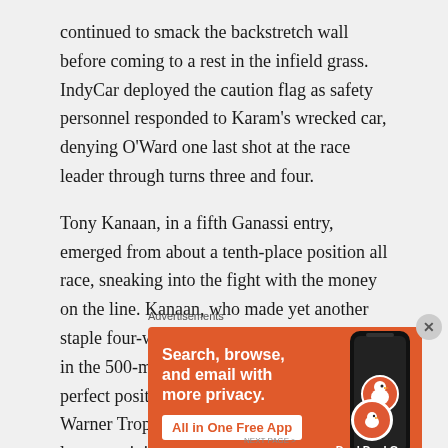continued to smack the backstretch wall before coming to a rest in the infield grass. IndyCar deployed the caution flag as safety personnel responded to Karam's wrecked car, denying O'Ward one last shot at the race leader through turns three and four.
Tony Kanaan, in a fifth Ganassi entry, emerged from about a tenth-place position all race, sneaking into the fight with the money on the line. Kanaan, who made yet another staple four-wide pass of his on a restart early in the 500-miler, thought he was in the perfect position to win his second Borg-Warner Trophy under a red flag with four laps remaining. However, a move from fourth-place Felix Rosenqvist denied the Brazilian and fan-favorite a quick pass on O'Ward. Despite this, TK held onto to the final podium position against Rosenqvist in a tight
Advertisements
[Figure (other): DuckDuckGo advertisement banner with orange background. Text reads: 'Search, browse, and email with more privacy. All in One Free App'. Shows a smartphone and DuckDuckGo logo.]